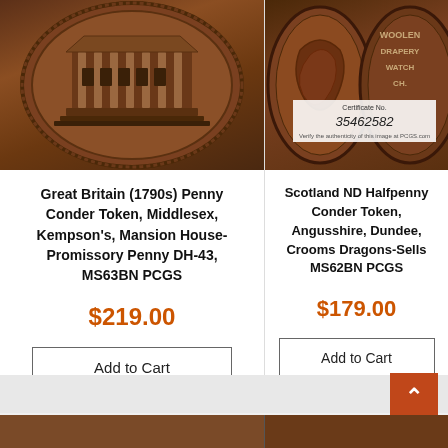[Figure (photo): Coin image: Great Britain 1790s Penny Conder Token showing a building facade on a copper coin]
Great Britain (1790s) Penny Conder Token, Middlesex, Kempson's, Mansion House-Promissory Penny DH-43, MS63BN PCGS
$219.00
Add to Cart
[Figure (photo): Coin image: Scotland ND Halfpenny Conder Token showing bust and reverse with WOOLEN DRAPERY WATCH text, with PCGS certificate overlay showing Certificate No. 35462582]
Scotland ND Halfpenny Conder Token, Angusshire, Dundee, Crooms Dragons-Sells MS62BN PCGS
$179.00
Add to Cart